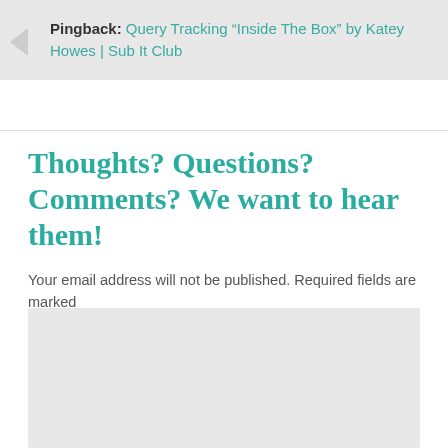Pingback: Query Tracking “Inside The Box” by Katey Howes | Sub It Club
Thoughts? Questions? Comments? We want to hear them!
Your email address will not be published. Required fields are marked
[Figure (other): Empty comment text area input box with light gray background]